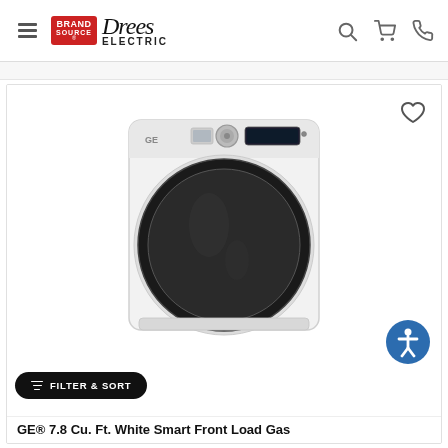Brand Source Drees Electric — navigation header with hamburger menu, logo, search, cart, and phone icons
[Figure (photo): GE front-load gas dryer in white with large round black drum door, control panel at top with knob and display]
FILTER & SORT
GE® 7.8 Cu. Ft. White Smart Front Load Gas